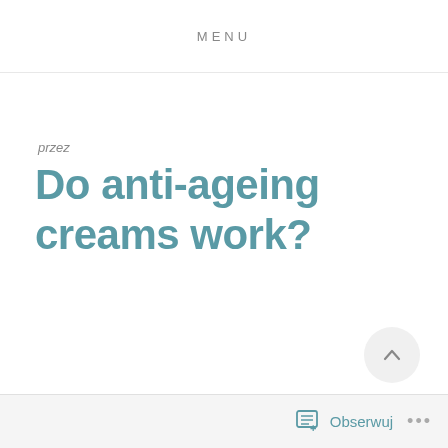MENU
przez
Do anti-ageing creams work?
Obserwuj ...